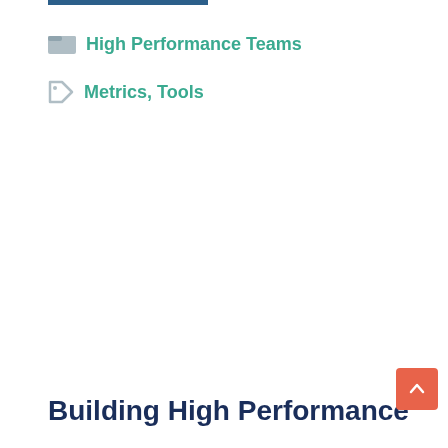High Performance Teams
Metrics, Tools
Building High Performance